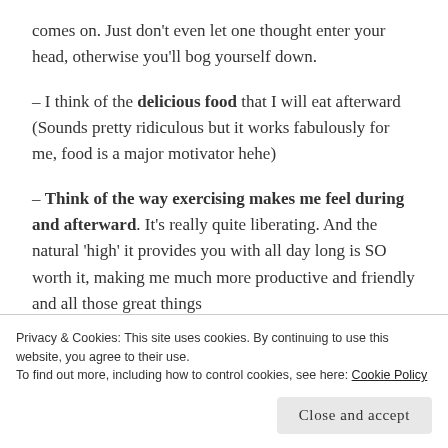comes on. Just don't even let one thought enter your head, otherwise you'll bog yourself down.
– I think of the delicious food that I will eat afterward (Sounds pretty ridiculous but it works fabulously for me, food is a major motivator hehe)
– Think of the way exercising makes me feel during and afterward. It's really quite liberating. And the natural 'high' it provides you with all day long is SO worth it, making me much more productive and friendly and all those great things
Privacy & Cookies: This site uses cookies. By continuing to use this website, you agree to their use. To find out more, including how to control cookies, see here: Cookie Policy
Close and accept